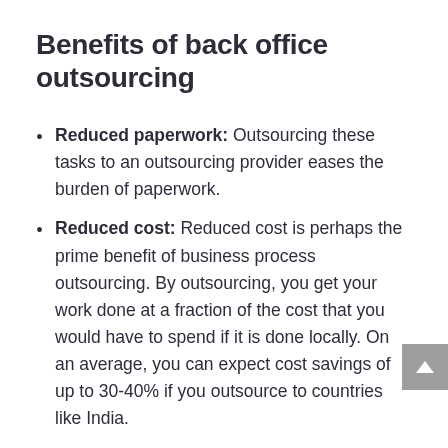Benefits of back office outsourcing
Reduced paperwork: Outsourcing these tasks to an outsourcing provider eases the burden of paperwork.
Reduced cost: Reduced cost is perhaps the prime benefit of business process outsourcing. By outsourcing, you get your work done at a fraction of the cost that you would have to spend if it is done locally. On an average, you can expect cost savings of up to 30-40% if you outsource to countries like India.
The skilled team on the job: A reliable BPO company ensures that your specific tasks are done by a skilled team of professionals. This